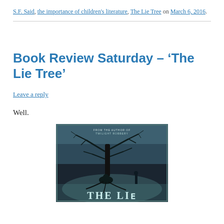S.F. Said, the importance of children's literature, The Lie Tree on March 6, 2016.
Book Review Saturday – ‘The Lie Tree’
Leave a reply
Well.
[Figure (photo): Book cover of 'The Lie Tree' showing a dark, atmospheric image with a bare tree, a crouching figure at its roots, a standing figure in the background, and the title text 'THE LIE' visible at the bottom.]